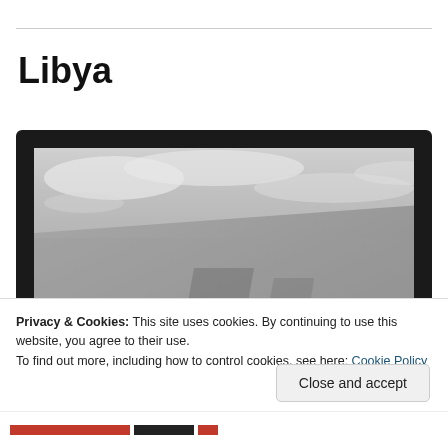Libya
[Figure (photo): Black and white photograph showing two people standing against a large textured wall with a dramatic sky above, displayed inside a dark laptop or monitor frame]
Privacy & Cookies: This site uses cookies. By continuing to use this website, you agree to their use.
To find out more, including how to control cookies, see here: Cookie Policy
Close and accept